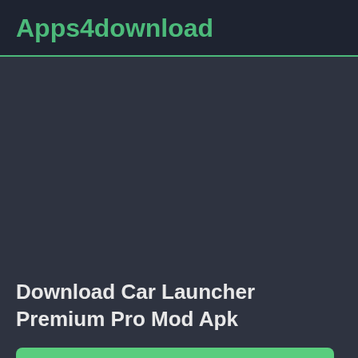Apps4download
[Figure (other): Large dark placeholder image area for Car Launcher Premium Pro Mod Apk article]
Download Car Launcher Premium Pro Mod Apk
Explore this Article